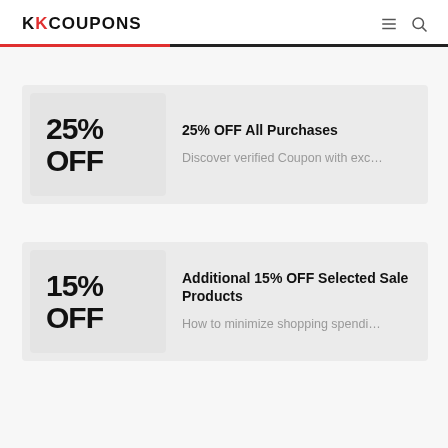KKCOUPONS
25% OFF All Purchases — Discover verified Coupon with exc…
Additional 15% OFF Selected Sale Products — How to minimize shopping spendi…